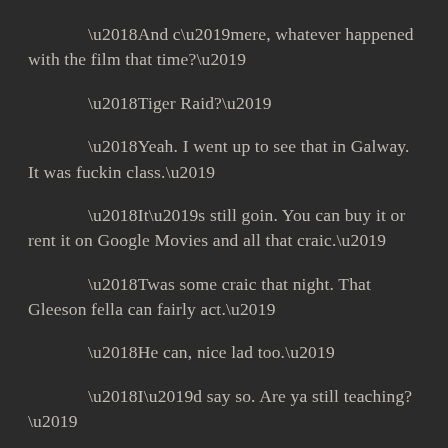‘And c’mere, whatever happened with the film that time?’
‘Tiger Raid?’
‘Yeah. I went up to see that in Galway. It was fuckin class.’
‘It’s still goin. You can buy it or rent it on Google Movies and all that craic.’
‘Twas some craic that night. That Gleeson fella can fairly act.’
‘He can, nice lad too.’
‘I’d say so. Are ya still teaching?’